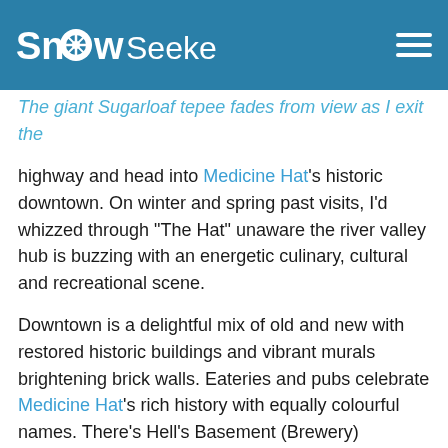SnowSeekers
our Expedition page for more inspiration.
The giant Sugarloaf tepee fades from view as I exit the highway and head into Medicine Hat's historic downtown. On winter and spring past visits, I'd whizzed through "The Hat" unaware the river valley hub is buzzing with an energetic culinary, cultural and recreational scene.
Downtown is a delightful mix of old and new with restored historic buildings and vibrant murals brightening brick walls. Eateries and pubs celebrate Medicine Hat's rich history with equally colourful names. There's Hell's Basement (Brewery) referring to Rudyard Kipling's 1907 description of Medicine Hat's natural gas reserves. Medicine Hat Brewery's Sin Bin Red Ale's namesake recalls the Sin Bin bar at a local inn.
One of Canada's sunniest cities also makes for a perfect basecamp if you are going to explore Cypress Hills